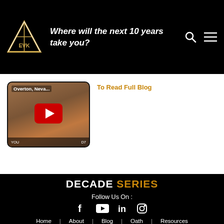Where will the next 10 years take you?
[Figure (screenshot): YouTube video thumbnail showing Overton, Nevada desert landscape with play button]
To Read Full Blog
DECADE SERIES
Follow Us On :
[Figure (logo): Social media icons: Facebook, YouTube, LinkedIn, Instagram]
Home  About  Blog  Oath  Resources  Contact us